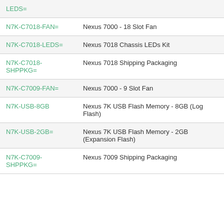| Code | Description |
| --- | --- |
| LEDS= |  |
| N7K-C7018-FAN= | Nexus 7000 - 18 Slot Fan |
| N7K-C7018-LEDS= | Nexus 7018 Chassis LEDs Kit |
| N7K-C7018-SHPPKG= | Nexus 7018 Shipping Packaging |
| N7K-C7009-FAN= | Nexus 7000 - 9 Slot Fan |
| N7K-USB-8GB | Nexus 7K USB Flash Memory - 8GB (Log Flash) |
| N7K-USB-2GB= | Nexus 7K USB Flash Memory - 2GB (Expansion Flash) |
| N7K-C7009-SHPPKG= | Nexus 7009 Shipping Packaging |